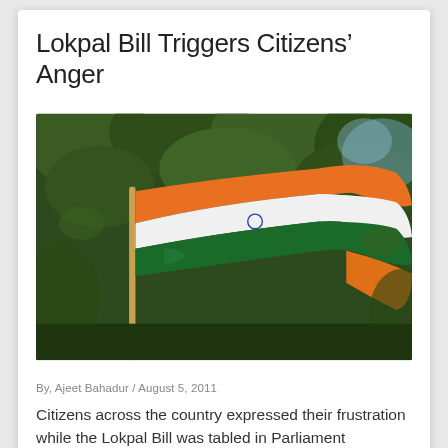Lokpal Bill Triggers Citizens’ Anger
[Figure (photo): Indian tricolor flag waving against a backdrop of green trees, showing saffron, white, and green stripes.]
By, Ajeet Bahadur / August 5, 2011
Citizens across the country expressed their frustration while the Lokpal Bill was tabled in Parliament yesterday.